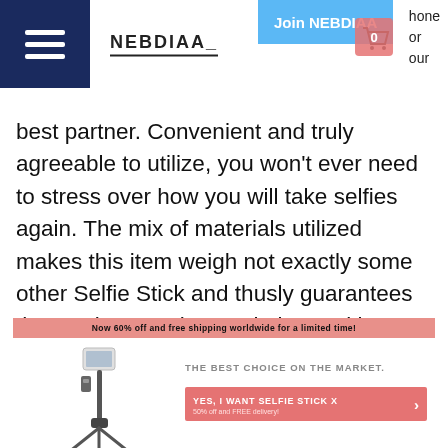NEBDIAA | Join NEBDIAA
best partner. Convenient and truly agreeable to utilize, you won't ever need to stress over how you will take selfies again. The mix of materials utilized makes this item weigh not exactly some other Selfie Stick and thusly guarantees the two its superb completion and its opposition. Its long battery duration and strength ensure a positive involvement with its different utilization situations.
[Figure (infographic): Product banner for Selfie Stick X showing 'Now 60% off and free shipping worldwide for a limited time!' with a selfie stick tripod image, text 'THE BEST CHOICE ON THE MARKET.' and a red CTA button 'YES, I WANT SELFIE STICK X - 50% off and FREE delivery!']